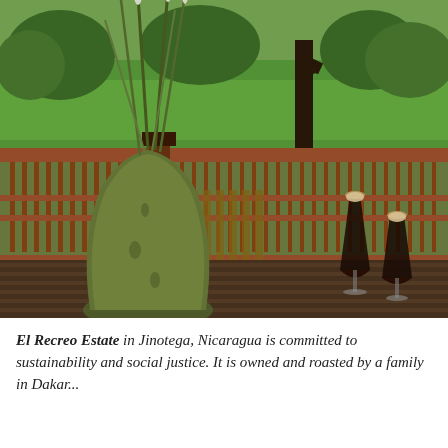[Figure (photo): Outdoor deck scene with a tall green ceramic vase holding tall grass/reed plants, two coffee drinks in wine glasses on a wooden deck table, a wooden railing behind, and a green field with trees in the background.]
El Recreo Estate in Jinotega, Nicaragua is committed to sustainability and social justice. It is owned and roasted by a family in Dakar...